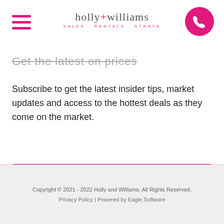holly+williams SALES RENTALS STRATA
Get the latest on prices
Subscribe to get the latest insider tips, market updates and access to the hottest deals as they come on the market.
SUBSCRIBE >
Copyright © 2021 - 2022 Holly and Williams, All Rights Reserved. Privacy Policy | Powered by Eagle Software